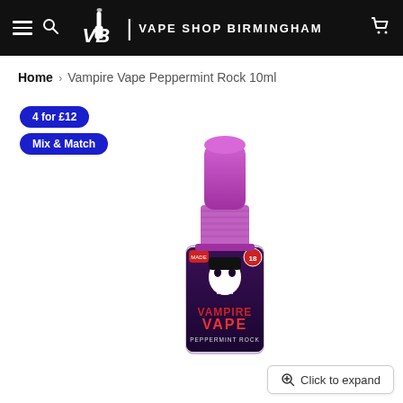VAPE SHOP BIRMINGHAM
Home > Vampire Vape Peppermint Rock 10ml
4 for £12
Mix & Match
[Figure (photo): A 10ml e-liquid bottle with a purple cap and a dark label reading 'VAMPIRE VAPE - PEPPERMINT ROCK']
Click to expand